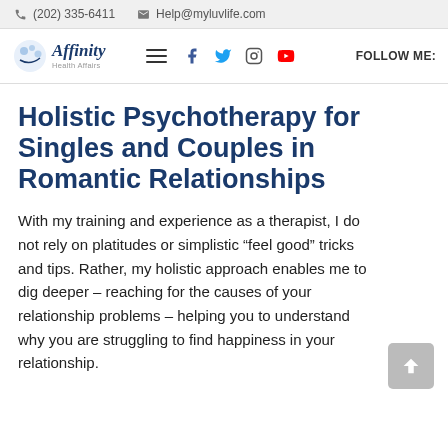(202) 335-6411  Help@myluvlife.com
[Figure (logo): Affinity Health Affairs logo with navigation bar including hamburger menu, Facebook, Twitter, Instagram, YouTube icons and FOLLOW ME: label]
Holistic Psychotherapy for Singles and Couples in Romantic Relationships
With my training and experience as a therapist, I do not rely on platitudes or simplistic “feel good” tricks and tips. Rather, my holistic approach enables me to dig deeper – reaching for the causes of your relationship problems – helping you to understand why you are struggling to find happiness in your relationship.